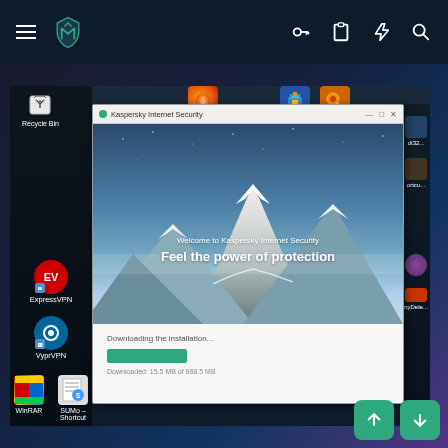[Figure (screenshot): Mobile app top navigation bar with hamburger menu, shield logo (teal/green), and right-side icons: key, clipboard, lightning bolt, search]
[Figure (screenshot): Windows desktop screenshot showing Kaspersky Internet Security installation window with tagline 'Welcome to Kaspersky Internet Security / Feel the power of protection', mountain background, and download progress bar. Desktop also shows icons: Recycle Bin, ExpressVPN, VyprVPN, WinRAR, SUMo Shortcut, smplayer Shortcut, FreeTube, SumatraPDF, Firefox, and other icons on taskbar.]